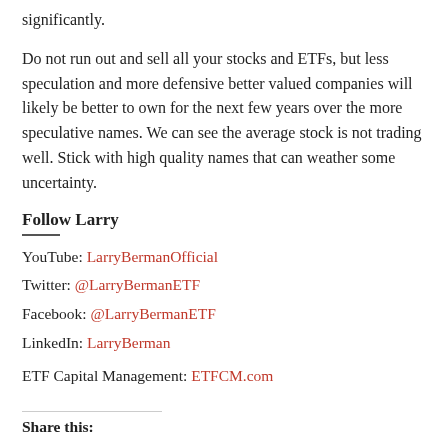significantly.
Do not run out and sell all your stocks and ETFs, but less speculation and more defensive better valued companies will likely be better to own for the next few years over the more speculative names. We can see the average stock is not trading well. Stick with high quality names that can weather some uncertainty.
Follow Larry
——
YouTube: LarryBermanOfficial
Twitter: @LarryBermanETF
Facebook: @LarryBermanETF
LinkedIn: LarryBerman
ETF Capital Management: ETFCM.com
Share this: